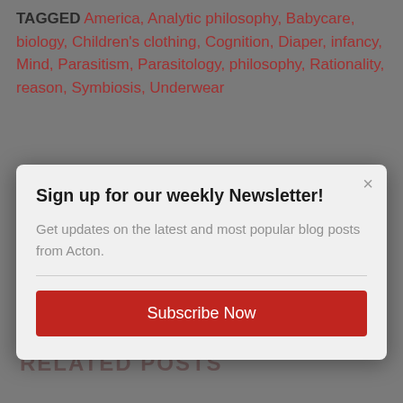TAGGED America, Analytic philosophy, Babycare, biology, Children's clothing, Cognition, Diaper, infancy, Mind, Parasitism, Parasitology, philosophy, Rationality, reason, Symbiosis, Underwear
[Figure (screenshot): Newsletter signup modal dialog with title 'Sign up for our weekly Newsletter!', body text 'Get updates on the latest and most popular blog posts from Acton.', a horizontal divider, and a red 'Subscribe Now' button. A close (×) button is in the top right corner.]
Student Loan Debt is Not Just an Economic Problem, It's a Marriage Problem
Is behavioral economics blind to its blindness?
Protestants and Natural Law, Part 6